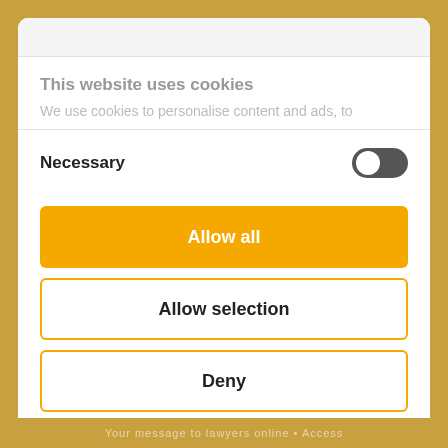This website uses cookies
We use cookies to personalise content and ads, to
Necessary
Allow all
Allow selection
Deny
Your message to lawyers online • Access